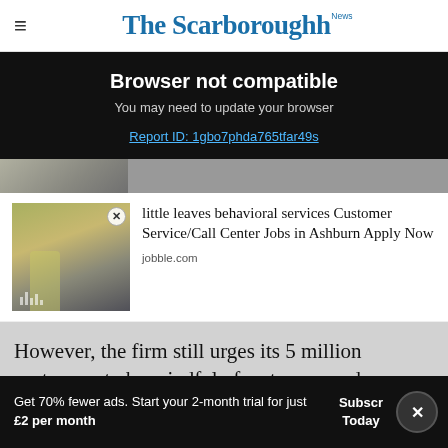The Scarborough News
Browser not compatible
You may need to update your browser
Report ID: 1gbo7phda765tfar49s
[Figure (photo): Worker in yellow high-vis vest and hard hat in industrial setting]
little leaves behavioral services Customer Service/Call Center Jobs in Ashburn Apply Now
jobble.com
However, the firm still urges its 5 million customers to be mindful of water use and con...
Get 70% fewer ads. Start your 2-month trial for just £2 per month
Subscribe Today